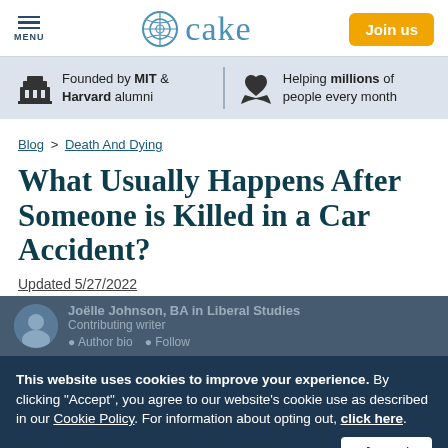MENU | cake | Join us
Founded by MIT & Harvard alumni | Helping millions of people every month
Blog > Death And Dying
What Usually Happens After Someone is Killed in a Car Accident?
Updated 5/27/2022
This website uses cookies to improve your experience. By clicking "Accept", you agree to our website's cookie use as described in our Cookie Policy. For information about opting out, click here.